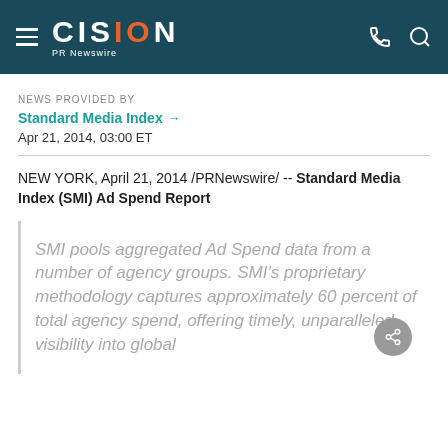CISION PR Newswire
NEWS PROVIDED BY
Standard Media Index →
Apr 21, 2014, 03:00 ET
NEW YORK, April 21, 2014 /PRNewswire/ -- Standard Media Index (SMI) Ad Spend Report
SMI pools aggregated Ad Spend data from a number of agency groups. SMI's proprietary methodology captures approximately 60 percent of total agency spend, offering timely, unparalleled visibility into global